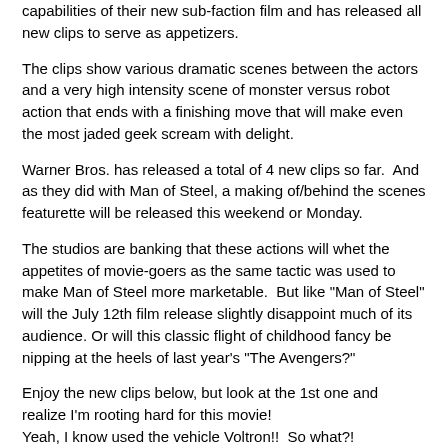capabilities of their new sub-faction film and has released all new clips to serve as appetizers.
The clips show various dramatic scenes between the actors and a very high intensity scene of monster versus robot action that ends with a finishing move that will make even the most jaded geek scream with delight.
Warner Bros. has released a total of 4 new clips so far.  And as they did with Man of Steel, a making of/behind the scenes featurette will be released this weekend or Monday.
The studios are banking that these actions will whet the appetites of movie-goers as the same tactic was used to make Man of Steel more marketable.  But like "Man of Steel" will the July 12th film release slightly disappoint much of its audience. Or will this classic flight of childhood fancy be nipping at the heels of last year's "The Avengers?"
Enjoy the new clips below, but look at the 1st one and realize I'm rooting hard for this movie!
Yeah, I know used the vehicle Voltron!!  So what?!